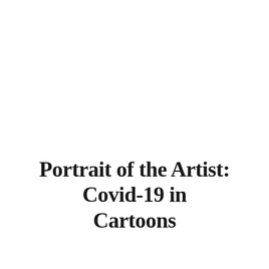Portrait of the Artist: Covid-19 in Cartoons